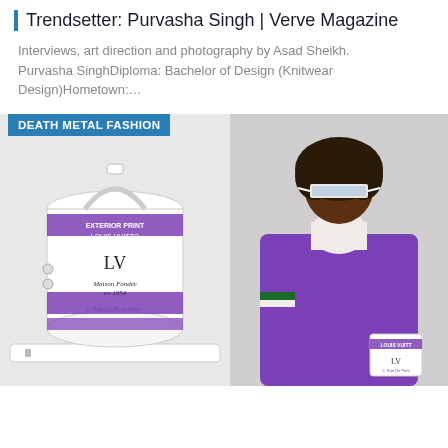Trendsetter: Purvasha Singh | Verve Magazine
Interviews, art direction and photography by Asad Sheikh. Purvasha SinghDiploma: Bachelor of Design (Knitwear Design)Hometown:…
[Figure (photo): Louis Vuitton paint-can shaped handbag in white and purple with EXTERIOR PRINT LOUIS VUITTON text, LV logo, Maison Fondée en 1854, 2 Rue Du Pont Neuf label, white leather strap and belt]
[Figure (photo): Young man with afro hair wearing white rectangular shield sunglasses, purple oversized sweater with green and white stripe detail and LV logo, carrying Louis Vuitton purple paint-can bag on shoulder]